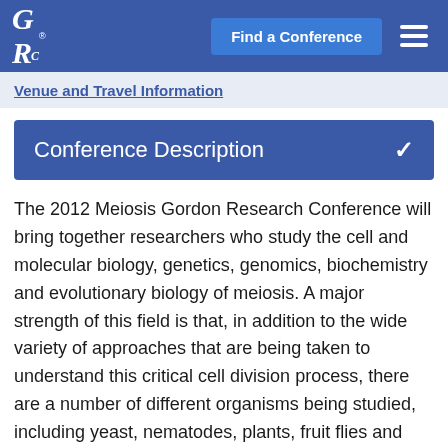GRC® | Find a Conference
Venue and Travel Information
Conference Description
The 2012 Meiosis Gordon Research Conference will bring together researchers who study the cell and molecular biology, genetics, genomics, biochemistry and evolutionary biology of meiosis. A major strength of this field is that, in addition to the wide variety of approaches that are being taken to understand this critical cell division process, there are a number of different organisms being studied, including yeast, nematodes, plants, fruit flies and mammals. The Conference will bring together a collection of investigators who are in the forefront of their field, and will provide opportunities for junior scientists and graduate students to